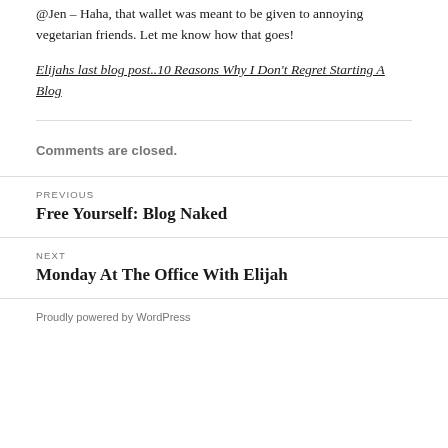@Jen – Haha, that wallet was meant to be given to annoying vegetarian friends. Let me know how that goes!
Elijahs last blog post..10 Reasons Why I Don't Regret Starting A Blog
Comments are closed.
Previous
Free Yourself: Blog Naked
Next
Monday At The Office With Elijah
Proudly powered by WordPress